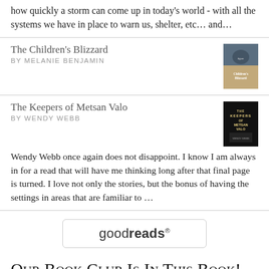how quickly a storm can come up in today’s world - with all the systems we have in place to warn us, shelter, etc… and…
The Children’s Blizzard
BY MELANIE BENJAMIN
The Keepers of Metsan Valo
BY WENDY WEBB
Wendy Webb once again does not disappoint. I know I am always in for a read that will have me thinking long after that final page is turned. I love not only the stories, but the bonus of having the settings in areas that are familiar to …
[Figure (logo): goodreads logo in a rounded rectangle button]
Our Book Club Is In This Book!